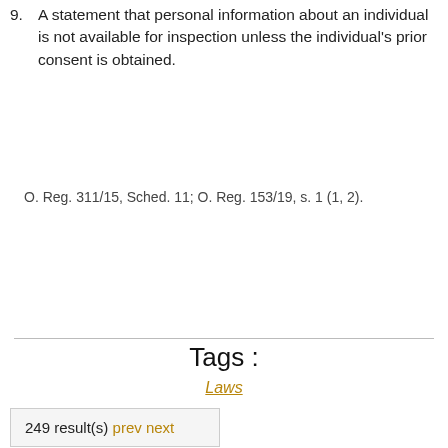9. A statement that personal information about an individual is not available for inspection unless the individual’s prior consent is obtained.
O. Reg. 311/15, Sched. 11; O. Reg. 153/19, s. 1 (1, 2).
Tags :
Laws
249 result(s) prev next